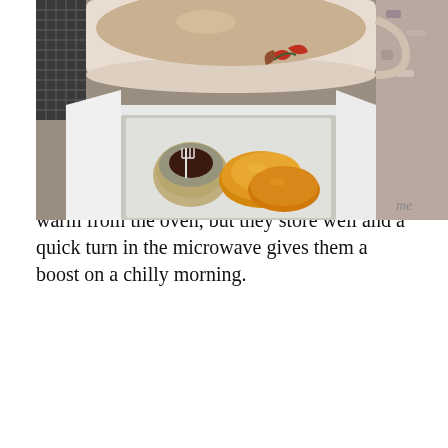annual shows and exhibitions. For home cooking, pumpkin scones have stood the test of time due to their quick preparation and adaptability. They can be eaten sweet with strawberry jam and whipped cream, or savoury with cheddar cheese and chutney.
For full flavour, pumpkin scones are best eaten warm from the oven, but they store well and a quick turn in the microwave gives them a boost on a chilly morning.
[Figure (photo): A photo showing a cup of tea with a floral pattern, alongside a white paper-lined box containing pumpkin scones and a small wrapped portion of jam with a fork, placed on a cooling rack near a granite countertop.]